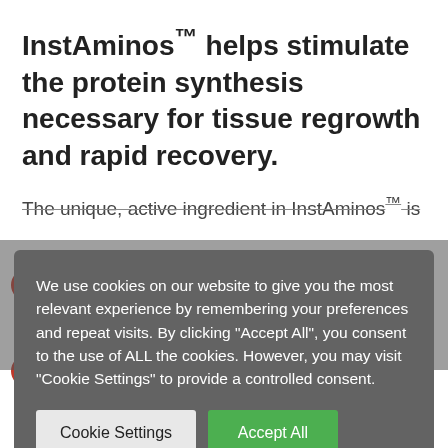InstAminos™ helps stimulate the protein synthesis necessary for tissue regrowth and rapid recovery.
The unique, active ingredient in InstAminos™ is
We use cookies on our website to give you the most relevant experience by remembering your preferences and repeat visits. By clicking "Accept All", you consent to the use of ALL the cookies. However, you may visit "Cookie Settings" to provide a controlled consent.
Reduces recovery time following intense physical activity
Stimulates protein synthesis to enhance muscle growth
Three essential amino acids slow muscle